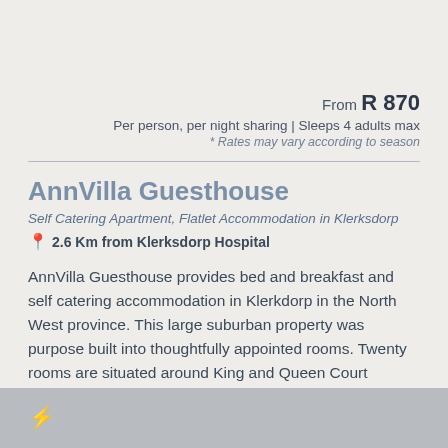From R 870
Per person, per night sharing | Sleeps 4 adults max
* Rates may vary according to season
AnnVilla Guesthouse
Self Catering Apartment, Flatlet Accommodation in Klerksdorp
2.6 Km from Klerksdorp Hospital
AnnVilla Guesthouse provides bed and breakfast and self catering accommodation in Klerkdorp in the North West province. This large suburban property was purpose built into thoughtfully appointed rooms. Twenty rooms are situated around King and Queen Court